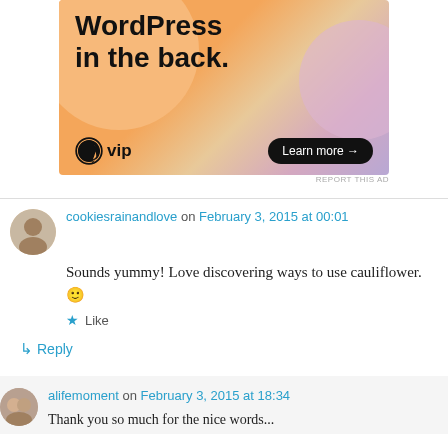[Figure (illustration): WordPress VIP advertisement banner with orange/pink gradient background showing text 'WordPress in the back.' with WP VIP logo and 'Learn more →' button]
REPORT THIS AD
cookiesrainandlove on February 3, 2015 at 00:01
Sounds yummy! Love discovering ways to use cauliflower. 🙂
★ Like
↳ Reply
alifemoment on February 3, 2015 at 18:34
Thank you so much for the nice words...